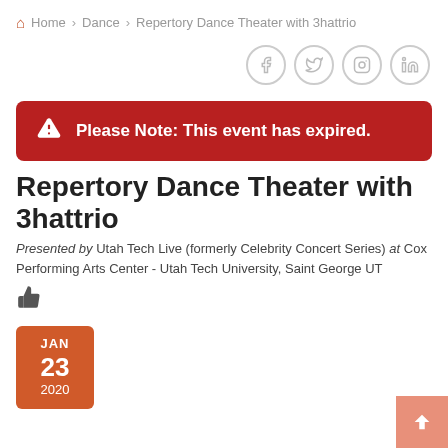Home > Dance > Repertory Dance Theater with 3hattrio
[Figure (infographic): Social media icons: Facebook, Twitter, Instagram, LinkedIn — grey circle outlines]
Please Note: This event has expired.
Repertory Dance Theater with 3hattrio
Presented by Utah Tech Live (formerly Celebrity Concert Series) at Cox Performing Arts Center - Utah Tech University, Saint George UT
[Figure (other): Thumbs up / like icon]
JAN 23 2020